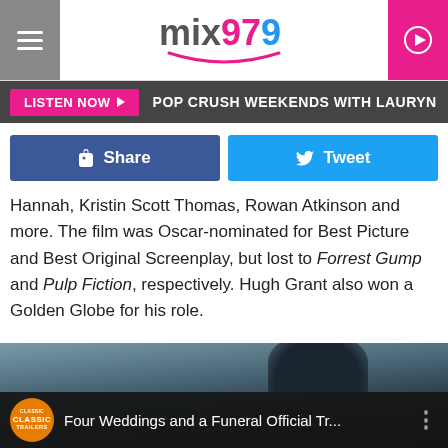mix97.9
LISTEN NOW ▶  POP CRUSH WEEKENDS WITH LAURYN
Share   Tweet
Hannah, Kristin Scott Thomas, Rowan Atkinson and more. The film was Oscar-nominated for Best Picture and Best Original Screenplay, but lost to Forrest Gump and Pulp Fiction, respectively. Hugh Grant also won a Golden Globe for his role.

Hulu didn't specify a premiere window for the new series, but you can watch the original trailer below and stay tuned.
[Figure (screenshot): Video thumbnail for Four Weddings and a Funeral Official Tr... with Classic Trailers badge]